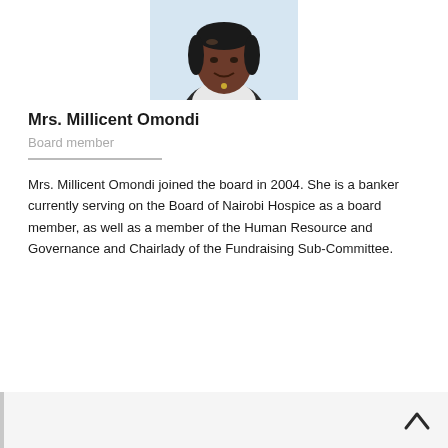[Figure (photo): Headshot photo of Mrs. Millicent Omondi, a woman smiling, wearing a light-colored top with a necklace, against a light background]
Mrs. Millicent Omondi
Board member
Mrs. Millicent Omondi joined the board in 2004. She is a banker currently serving on the Board of Nairobi Hospice as a board member, as well as a member of the Human Resource and Governance and Chairlady of the Fundraising Sub-Committee.